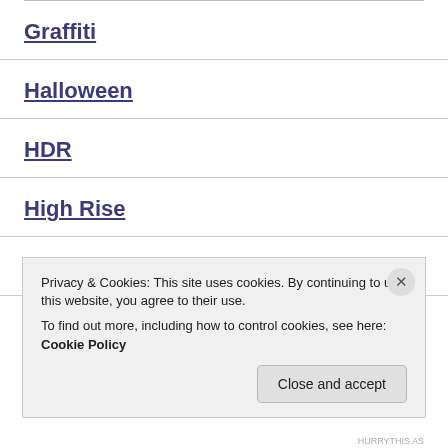Graffiti
Halloween
HDR
High Rise
Historical
Hockey
Privacy & Cookies: This site uses cookies. By continuing to use this website, you agree to their use.
To find out more, including how to control cookies, see here: Cookie Policy
HURRYTHIS AS